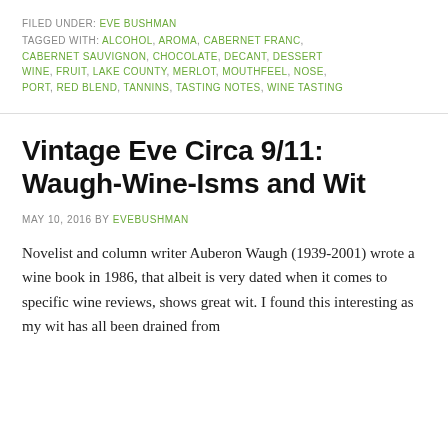FILED UNDER: EVE BUSHMAN
TAGGED WITH: ALCOHOL, AROMA, CABERNET FRANC, CABERNET SAUVIGNON, CHOCOLATE, DECANT, DESSERT WINE, FRUIT, LAKE COUNTY, MERLOT, MOUTHFEEL, NOSE, PORT, RED BLEND, TANNINS, TASTING NOTES, WINE TASTING
Vintage Eve Circa 9/11: Waugh-Wine-Isms and Wit
MAY 10, 2016 BY EVEBUSHMAN
Novelist and column writer Auberon Waugh (1939-2001) wrote a wine book in 1986, that albeit is very dated when it comes to specific wine reviews, shows great wit. I found this interesting as my wit has all been drained from